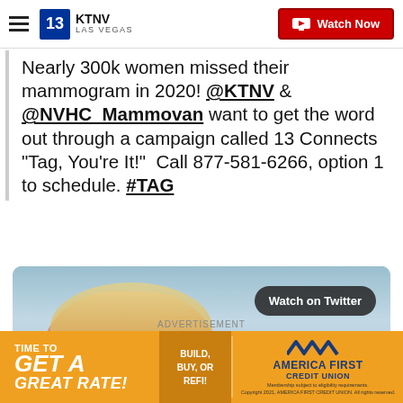KTNV LAS VEGAS — Watch Now
Nearly 300k women missed their mammogram in 2020! @KTNV & @NVHC_Mammovan want to get the word out through a campaign called 13 Connects "Tag, You're It!"  Call 877-581-6266, option 1 to schedule. #TAG
[Figure (screenshot): Twitter embedded video showing a news anchor woman with blonde hair in a pink outfit, with a 'Watch on Twitter' pill button and a blue play button overlay]
The Nevada Health Centers' Mammovan travels
ADVERTISEMENT
[Figure (illustration): America First Credit Union advertisement banner: 'Time to GET A GREAT RATE! BUILD, BUY, OR REFI!']